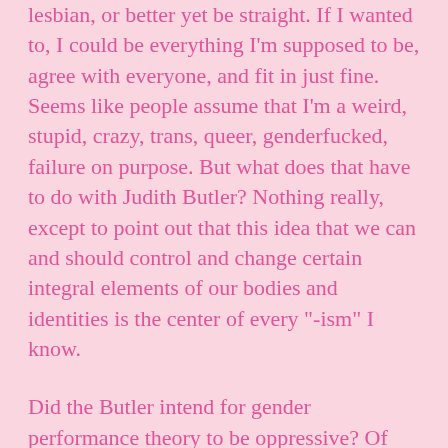lesbian, or better yet be straight. If I wanted to, I could be everything I'm supposed to be, agree with everyone, and fit in just fine. Seems like people assume that I'm a weird, stupid, crazy, trans, queer, genderfucked, failure on purpose. But what does that have to do with Judith Butler? Nothing really, except to point out that this idea that we can and should control and change certain integral elements of our bodies and identities is the center of every "-ism" I know.
Did the Butler intend for gender performance theory to be oppressive? Of course not. "Gender as performance" was one of the women's empowerment movement's moves to legitimize gender difference and subversiveness, primarily referencing expression but at the time, gender